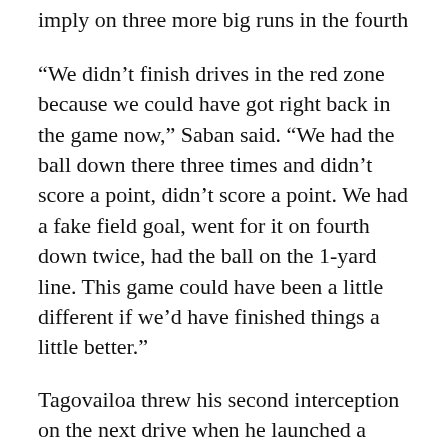imply on three more big runs in the fourth [?].
“We didn’t finish drives in the red zone because we could have got right back in the game now,” Saban said. “We had the ball down there three times and didn’t score a point, didn’t score a point. We had a fake field goal, went for it on fourth down twice, had the ball on the 1-yard line. This game could have been a little different if we’d have finished things a little better.”
Tagovailoa threw his second interception on the next drive when he launched a deep pass into coverage and took a third-down sack the following drive when he didn’t see a cornerback blitz coming. Things then fell apart in the second half with Alabama getting stopped on the fake field goal on the opening drive when holder Mac Jones was stopped for a 2-yard loss on fourth-and-6.
Tagovailoa then was stopped short on two fourth-